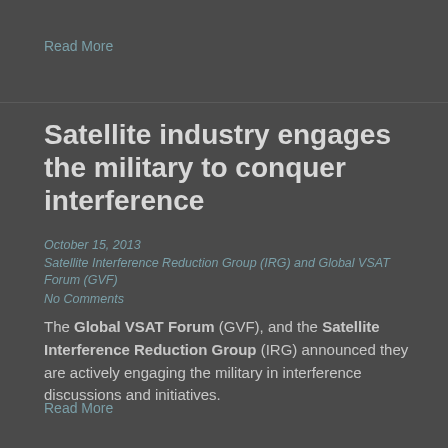Read More
Satellite industry engages the military to conquer interference
October 15, 2013
Satellite Interference Reduction Group (IRG) and Global VSAT Forum (GVF)
No Comments
The Global VSAT Forum (GVF), and the Satellite Interference Reduction Group (IRG) announced they are actively engaging the military in interference discussions and initiatives.
Read More